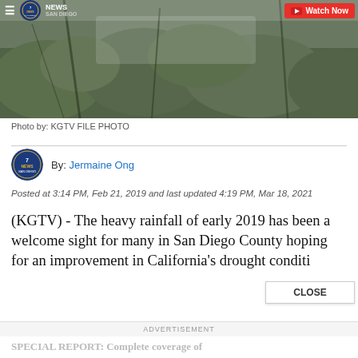[Figure (photo): Aerial or outdoor nature scene showing trees and foliage with grey/green tones, appearing wet or rainy. KGTV News San Diego logo and Watch Now button visible as overlay.]
Photo by: KGTV FILE PHOTO
By: Jermaine Ong
Posted at 3:14 PM, Feb 21, 2019 and last updated 4:19 PM, Mar 18, 2021
(KGTV) - The heavy rainfall of early 2019 has been a welcome sight for many in San Diego County hoping for an improvement in California's drought conditi
ADVERTISEMENT
SPECIAL REPORT: Complete coverage of